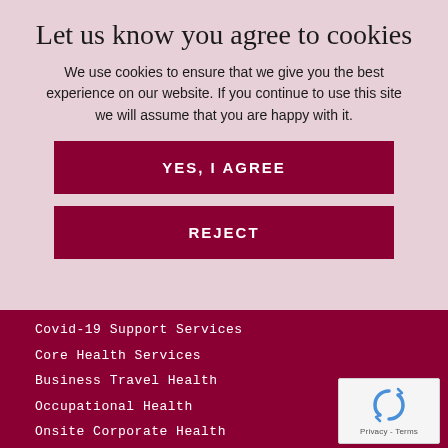Let us know you agree to cookies
We use cookies to ensure that we give you the best experience on our website. If you continue to use this site we will assume that you are happy with it.
YES, I AGREE
REJECT
Covid-19 Support Services
Core Health Services
Business Travel Health
Occupational Health
Onsite Corporate Health
Workplace Flu Vaccination
Workplace Vaccinations